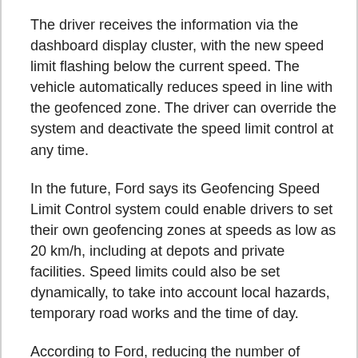The driver receives the information via the dashboard display cluster, with the new speed limit flashing below the current speed. The vehicle automatically reduces speed in line with the geofenced zone. The driver can override the system and deactivate the speed limit control at any time.
In the future, Ford says its Geofencing Speed Limit Control system could enable drivers to set their own geofencing zones at speeds as low as 20 km/h, including at depots and private facilities. Speed limits could also be set dynamically, to take into account local hazards, temporary road works and the time of day.
According to Ford, reducing the number of signs on the roads could go a long way towards decluttering cities, with drivers able to concentrate on the roads rather than keep watch for signs.